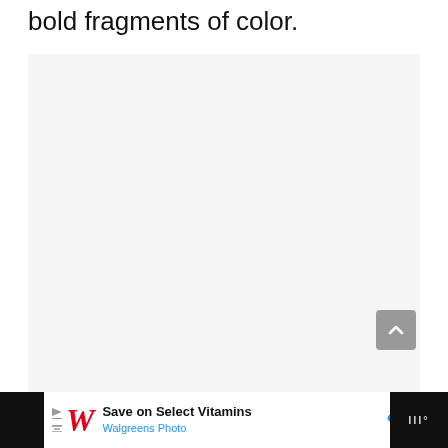bold fragments of color.
[Figure (other): Large light gray placeholder image area]
[Figure (other): Scroll-to-top button, gray rounded square with upward chevron arrow]
[Figure (other): Advertisement banner: Walgreens Photo - Save on Select Vitamins, with Walgreens red cursive W logo, blue diamond navigation icon, and dark right section with Watcher icon]